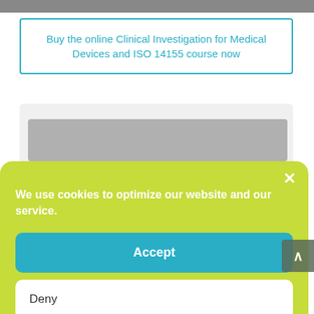[Figure (photo): Top strip of a photo, partially cropped]
Buy the online Clinical Investigation for Medical Devices and ISO 14155 course now
[Figure (screenshot): Partially visible card with gray header image]
We use cookies to optimize our website and our service.
Accept
Deny
Opt-out preferences